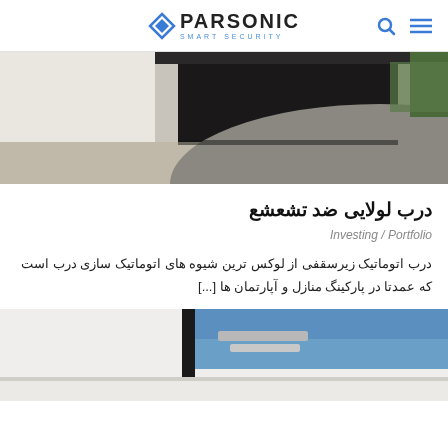PARSONIC SMART SECURITY
[Figure (photo): Exterior view of an automatic garage/building door with driveway, grey wall on left, dark door opening, and greenery on the right side]
درب لولایی ضد تشعشع
Investing / Portfolio
درب اتوماتیک زیرسقفی از لوکس ترین شیوه های اتوماتیک سازی درب است که عمدتا در پارکینگ منازل و آپارتمان ها [...]
[Figure (photo): Close-up architectural shot of a modern door or gate with white wall, dark frame bar, and blue sky in background]